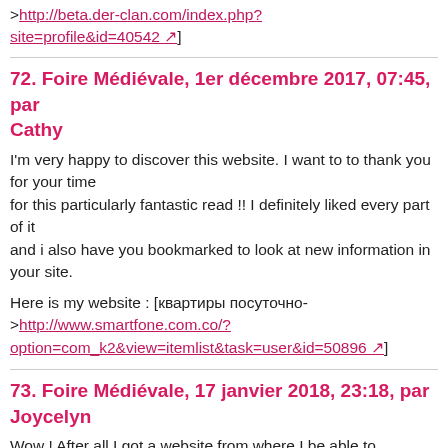>http://beta.der-clan.com/index.php?site=profile&id=40542 ↗]
72. Foire Médiévale, 1er décembre 2017, 07:45, par Cathy
I'm very happy to discover this website. I want to to thank you for your time for this particularly fantastic read !! I definitely liked every part of it and i also have you bookmarked to look at new information in your site.
Here is my website : [квартиры посуточно->http://www.smartfone.com.co/?option=com_k2&view=itemlist&task=user&id=50896 ↗]
73. Foire Médiévale, 17 janvier 2018, 23:18, par Joycelyn
Wow ! After all I got a website from where I be able to genuinely take valuable information concerning my study and knowledge.